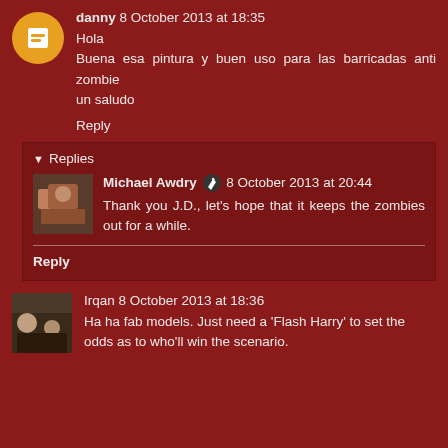danny 8 October 2013 at 18:35
Hola
Buena esa pintura y buen uso para las barricadas anti zombie
un saludo
Reply
Replies
Michael Awdry 8 October 2013 at 20:44
Thank you J.D., let's hope that it keeps the zombies out for a while.
Reply
Irqan 8 October 2013 at 18:36
Ha ha fab models. Just need a 'Flash Harry' to set the odds as to who'll win the scenario.